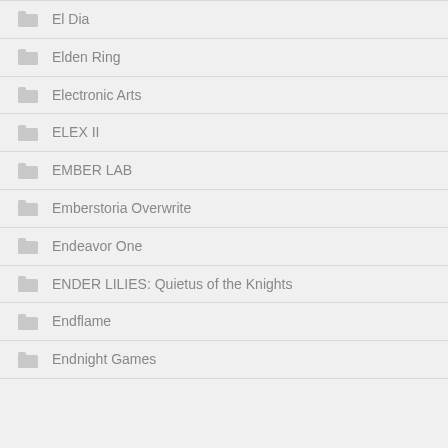El Dia
Elden Ring
Electronic Arts
ELEX II
EMBER LAB
Emberstoria Overwrite
Endeavor One
ENDER LILIES: Quietus of the Knights
Endflame
Endnight Games